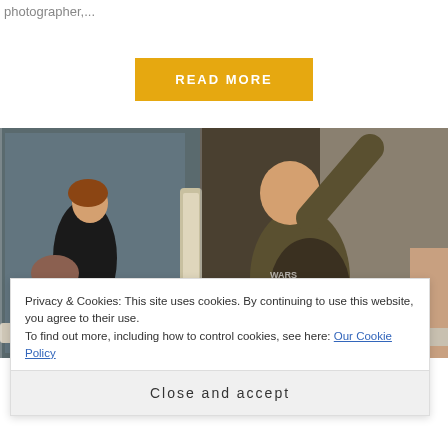photographer,...
[Figure (other): Button labeled READ MORE with yellow/amber background]
[Figure (photo): Street scene with people walking in what appears to be a shopping centre or public indoor space. A woman with a handbag on the left, a person with arm raised in the centre wearing a dark hoodie, and another person partially visible on the right.]
Privacy & Cookies: This site uses cookies. By continuing to use this website, you agree to their use.
To find out more, including how to control cookies, see here: Our Cookie Policy
Close and accept